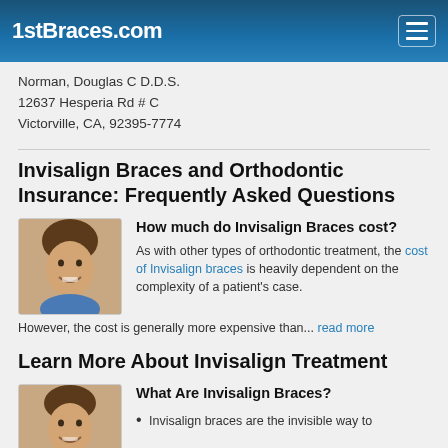1stBraces.com
Norman, Douglas C D.D.S.
12637 Hesperia Rd # C
Victorville, CA, 92395-7774
Invisalign Braces and Orthodontic Insurance: Frequently Asked Questions
[Figure (photo): Young person smiling while holding an Invisalign aligner]
How much do Invisalign Braces cost?
As with other types of orthodontic treatment, the cost of Invisalign braces is heavily dependent on the complexity of a patient's case. However, the cost is generally more expensive than... read more
Learn More About Invisalign Treatment
[Figure (photo): Young person smiling, related to Invisalign treatment]
What Are Invisalign Braces?
Invisalign braces are the invisible way to